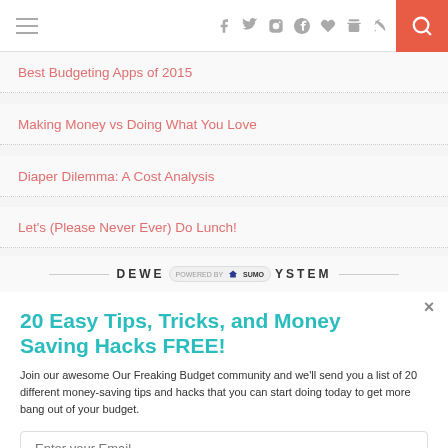Navigation bar with hamburger menu, social icons (Facebook, Twitter, Instagram, Pinterest, Heart, RSS), and search button
Best Budgeting Apps of 2015
Making Money vs Doing What You Love
Diaper Dilemma: A Cost Analysis
Let's (Please Never Ever) Do Lunch!
DEWEY [POWERED BY SUMO] SYSTEM
20 Easy Tips, Tricks, and Money Saving Hacks FREE!
Join our awesome Our Freaking Budget community and we'll send you a list of 20 different money-saving tips and hacks that you can start doing today to get more bang out of your budget.